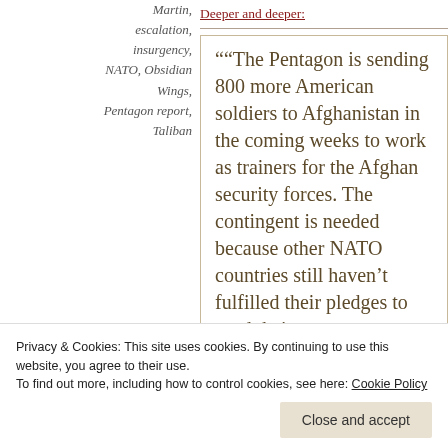Martin, escalation, insurgency, NATO, Obsidian Wings, Pentagon report, Taliban
Deeper and deeper:
""The Pentagon is sending 800 more American soldiers to Afghanistan in the coming weeks to work as trainers for the Afghan security forces. The contingent is needed because other NATO countries still haven't fulfilled their pledges to send their own troops to train the Afghan army
Privacy & Cookies: This site uses cookies. By continuing to use this website, you agree to their use.
To find out more, including how to control cookies, see here: Cookie Policy
Close and accept